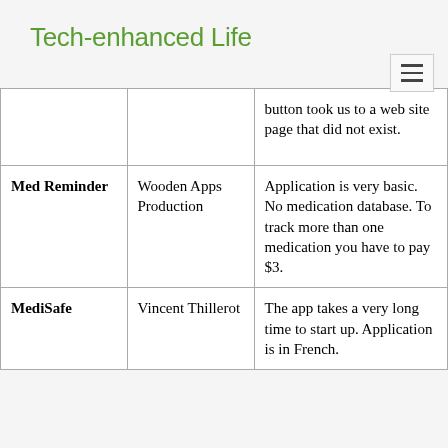Tech-enhanced Life
| App | Developer | Notes |
| --- | --- | --- |
|  |  | button took us to a web site page that did not exist. |
| Med Reminder | Wooden Apps Production | Application is very basic. No medication database. To track more than one medication you have to pay $3. |
| MediSafe | Vincent Thillerot | The app takes a very long time to start up. Application is in French. |